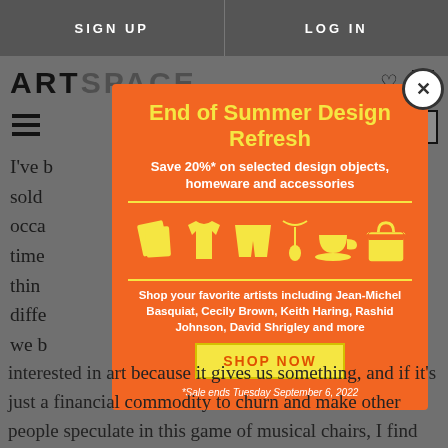SIGN UP   LOG IN
ARTSPACE
[Figure (screenshot): Modal popup advertisement over a website page showing 'End of Summer Design Refresh' promotion with icons of design items]
End of Summer Design Refresh
Save 20%* on selected design objects, homeware and accessories
Shop your favorite artists including Jean-Michel Basquiat, Cecily Brown, Keith Haring, Rashid Johnson, David Shrigley and more
SHOP NOW
*Sale ends Tuesday September 6, 2022
interested in art because it gives us something, and if it's just a financial commodity to churn and make other people speculate in this game of musical chairs, I find